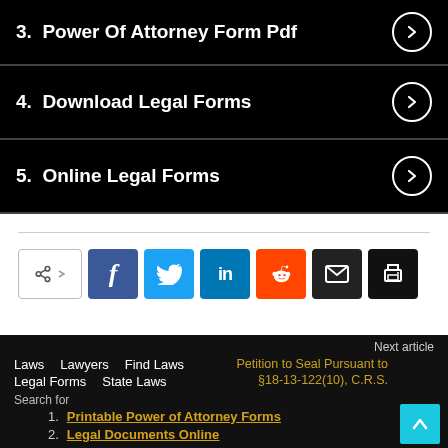3. Power Of Attorney Form Pdf
4. Download Legal Forms
5. Online Legal Forms
[Figure (infographic): Social sharing buttons: share icon, Facebook, Twitter, LinkedIn, Reddit, Email, Print]
Next article
Petition to Seal Pursuant to §18-13-122(10), C.R.S.
Laws  Lawyers  Find Laws
Legal Forms  State Laws
Search for
1. Printable Power of Attorney Forms
2. Legal Documents Online